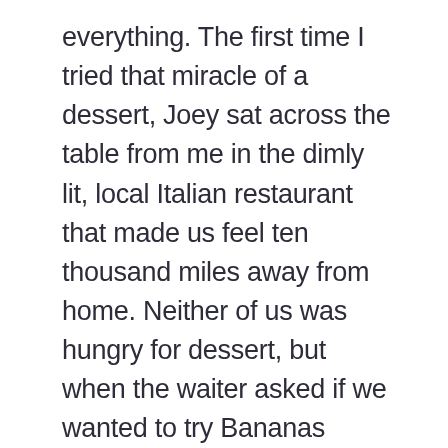everything. The first time I tried that miracle of a dessert, Joey sat across the table from me in the dimly lit, local Italian restaurant that made us feel ten thousand miles away from home. Neither of us was hungry for dessert, but when the waiter asked if we wanted to try Bananas Foster, we exchanged a knowing look and said an emphatic “Yes please.” One bite of the sticky sweet bananas doused in vanilla and rum and